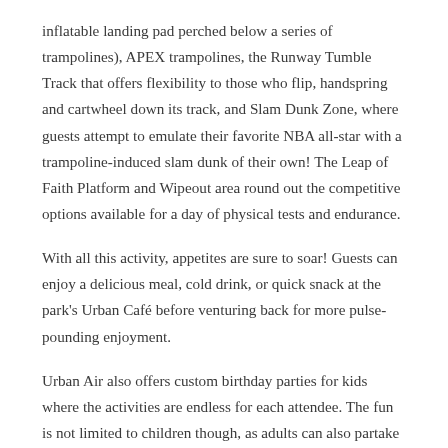inflatable landing pad perched below a series of trampolines), APEX trampolines, the Runway Tumble Track that offers flexibility to those who flip, handspring and cartwheel down its track, and Slam Dunk Zone, where guests attempt to emulate their favorite NBA all-star with a trampoline-induced slam dunk of their own! The Leap of Faith Platform and Wipeout area round out the competitive options available for a day of physical tests and endurance.
With all this activity, appetites are sure to soar! Guests can enjoy a delicious meal, cold drink, or quick snack at the park's Urban Café before venturing back for more pulse-pounding enjoyment.
Urban Air also offers custom birthday parties for kids where the activities are endless for each attendee. The fun is not limited to children though, as adults can also partake in a group outing too; Urban Air is the ideal locale for corporate retreats, team-building experiences, and private events.